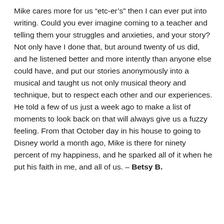Mike cares more for us “etc-er’s” then I can ever put into writing. Could you ever imagine coming to a teacher and telling them your struggles and anxieties, and your story? Not only have I done that, but around twenty of us did, and he listened better and more intently than anyone else could have, and put our stories anonymously into a musical and taught us not only musical theory and technique, but to respect each other and our experiences. He told a few of us just a week ago to make a list of moments to look back on that will always give us a fuzzy feeling. From that October day in his house to going to Disney world a month ago, Mike is there for ninety percent of my happiness, and he sparked all of it when he put his faith in me, and all of us. – Betsy B.